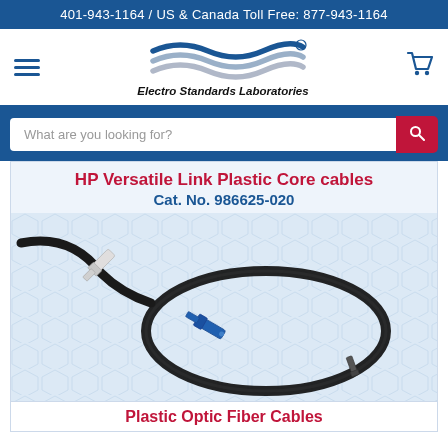401-943-1164 / US & Canada Toll Free: 877-943-1164
[Figure (logo): Electro Standards Laboratories logo with wave graphic and company name in italic bold]
What are you looking for?
HP Versatile Link Plastic Core cables Cat. No. 986625-020
[Figure (photo): Photo of HP Versatile Link Plastic Core fiber optic cable coiled, with white and blue connectors on each end]
Plastic Optic Fiber Cables